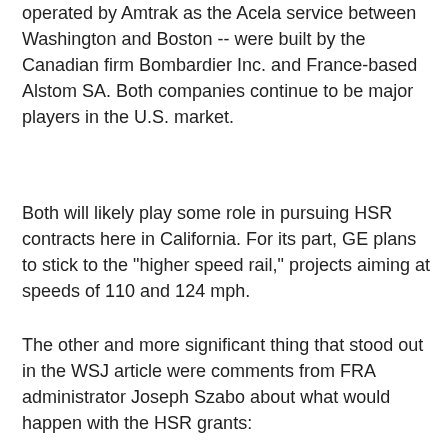operated by Amtrak as the Acela service between Washington and Boston -- were built by the Canadian firm Bombardier Inc. and France-based Alstom SA. Both companies continue to be major players in the U.S. market.
Both will likely play some role in pursuing HSR contracts here in California. For its part, GE plans to stick to the "higher speed rail," projects aiming at speeds of 110 and 124 mph.
The other and more significant thing that stood out in the WSJ article were comments from FRA administrator Joseph Szabo about what would happen with the HSR grants:
As soon as this week, Joseph Szabo, administrator of the Federal Railroad Administration, Transportation Secretary Ray LaHood and other senior White House officials will start deciding how to award the grants. A